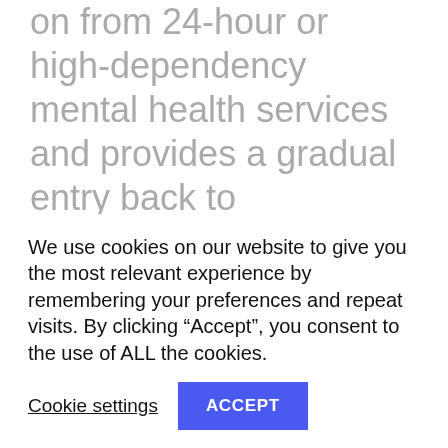on from 24-hour or high-dependency mental health services and provides a gradual entry back to independent living. Even those who are ready to take a step towards independence will require significant help to stay on the road to recovery. If the steps taken are too big or too fast, setbacks including relapse and readmittance are more likely.
We use cookies on our website to give you the most relevant experience by remembering your preferences and repeat visits. By clicking “Accept”, you consent to the use of ALL the cookies.
Cookie settings
ACCEPT